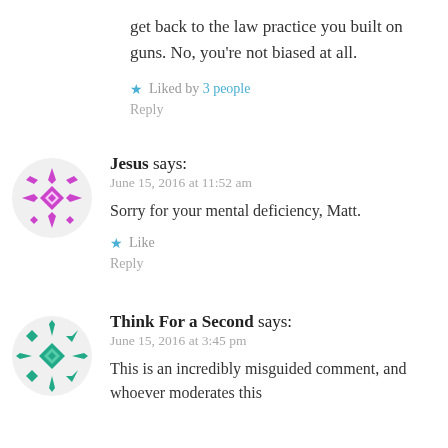get back to the law practice you built on guns. No, you're not biased at all.
Liked by 3 people
Reply
[Figure (illustration): Purple decorative avatar icon with a geometric star/diamond pattern]
Jesus says:
June 15, 2016 at 11:52 am
Sorry for your mental deficiency, Matt.
Like
Reply
[Figure (illustration): Teal/green decorative avatar icon with a geometric star/diamond pattern]
Think For a Second says:
June 15, 2016 at 3:45 pm
This is an incredibly misguided comment, and whoever moderates this